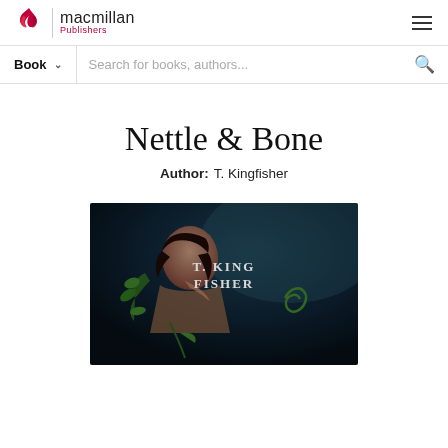Macmillan Publishers
Book   Search for books, authors...
Nettle & Bone
Author:  T. Kingfisher
[Figure (photo): Book cover of 'Nettle & Bone' by T. Kingfisher. Dark atmospheric cover showing a figure with vines/leaves, with 'T. KINGFISHER' text in white on a dark blue/teal background.]